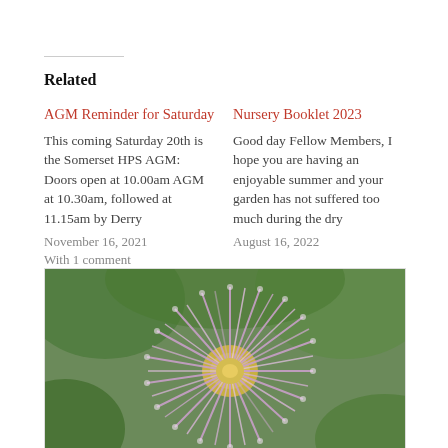Related
AGM Reminder for Saturday
This coming Saturday 20th is the Somerset HPS AGM: Doors open at 10.00am AGM at 10.30am, followed at 11.15am by Derry
November 16, 2021
With 1 comment
Nursery Booklet 2023
Good day Fellow Members, I hope you are having an enjoyable summer and your garden has not suffered too much during the dry
August 16, 2022
[Figure (photo): Close-up photo of a purple/lavender spiky flower (clematis or similar), with green leaves visible in the background]
Reminder: Saturday 21st Plant Sale and Talk
September 17, 2019